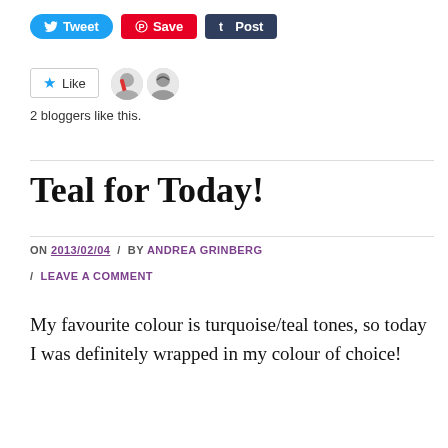[Figure (screenshot): Social sharing buttons: Tweet (blue), Save (red/Pinterest), Post (dark navy/Tumblr)]
[Figure (screenshot): Like button with star icon and two blogger avatar thumbnails]
2 bloggers like this.
Teal for Today!
ON 2013/02/04 / BY ANDREA GRINBERG / LEAVE A COMMENT
My favourite colour is turquoise/teal tones, so today I was definitely wrapped in my colour of choice!